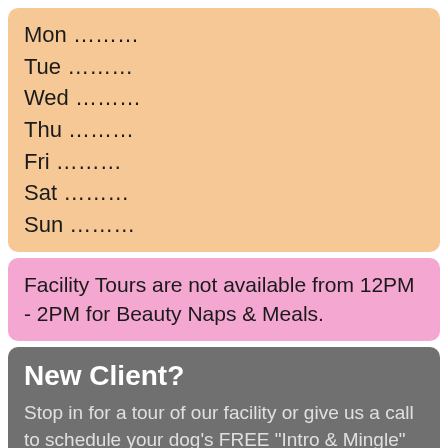Mon ………
Tue ………
Wed ………
Thu ………
Fri ………
Sat ………
Sun ………
Facility Tours are not available from 12PM - 2PM for Beauty Naps & Meals.
New Client?
Stop in for a tour of our facility or give us a call to schedule your dog's FREE "Intro & Mingle" interview which includes a FREE day of Doggie